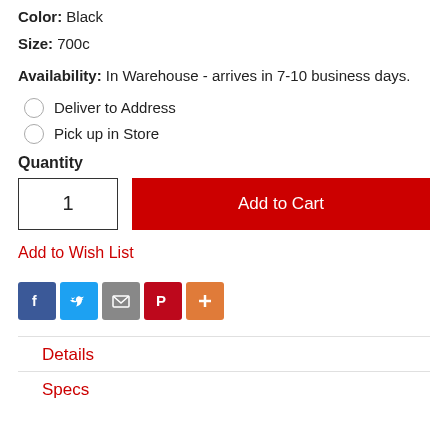Color: Black
Size: 700c
Availability: In Warehouse - arrives in 7-10 business days.
Deliver to Address
Pick up in Store
Quantity
1
Add to Cart
Add to Wish List
[Figure (infographic): Social share icons: Facebook (blue), Twitter (blue), Email (gray), Pinterest (red), More/Plus (orange)]
Details
Specs